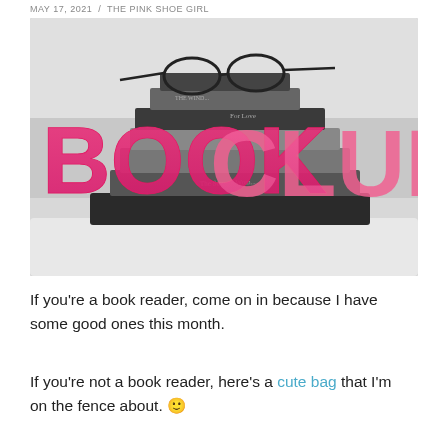MAY 17, 2021 / THE PINK SHOE GIRL
[Figure (photo): Black and white photo of a stack of books with reading glasses on top, overlaid with large bold pink text reading 'BOOK CLUB']
If you're a book reader, come on in because I have some good ones this month.
If you're not a book reader, here's a cute bag that I'm on the fence about. 🙂